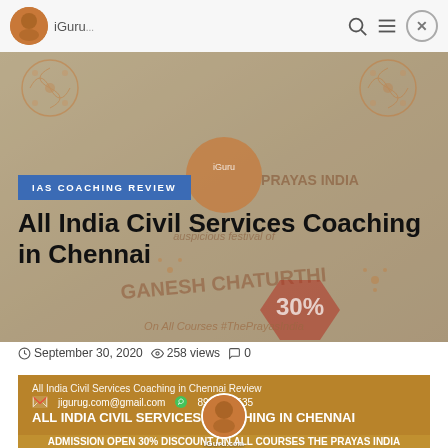iGuru
[Figure (illustration): Ganesh Chaturthi promotional banner with decorative floral border, circular logo, text PRAYAS INDIA, 30% discount offer on all courses, with watermark overlays]
IAS COACHING REVIEW
All India Civil Services Coaching in Chennai
September 30, 2020   258 views   0
[Figure (infographic): All India Civil Services Coaching in Chennai Review card with orange/brown background. Contact: jigurug.com@gmail.com, 8960029535. ALL INDIA CIVIL SERVICES COACHING IN CHENNAI ADMISSION OPEN 30% DISCOUNT ON ALL COURSES THE PRAYAS INDIA]
[Figure (logo): iGuru.com circular logo watermark at bottom center]